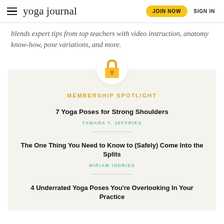yoga journal | JOIN NOW | SIGN IN
blends expert tips from top teachers with video instruction, anatomy know-how, pose variations, and more.
[Figure (illustration): Gold padlock icon on white circle background]
MEMBERSHIP SPOTLIGHT
7 Yoga Poses for Strong Shoulders
TAMARA Y. JEFFRIES
The One Thing You Need to Know to (Safely) Come Into the Splits
MIRIAM INDRIES
4 Underrated Yoga Poses You're Overlooking In Your Practice